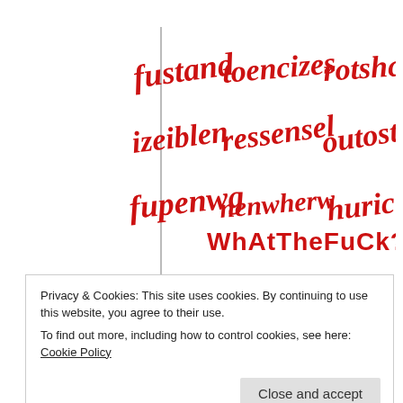[Figure (illustration): Nine distorted/warped red script text CAPTCHAs arranged in a 3x3 grid on white background, with a bold red 'WhAtTheFuCk??!!' text overlaid in the bottom center area. Words appear to be: fustand, toencizes, rotshc, izeiblen, ressensel, outost, fupenwg, nenwherw, hurici]
Privacy & Cookies: This site uses cookies. By continuing to use this website, you agree to their use.
To find out more, including how to control cookies, see here: Cookie Policy
Close and accept